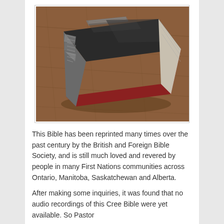[Figure (photo): A worn Bible with black cover and red page edges, taped with duct tape along the spine, lying on a wooden surface.]
This Bible has been reprinted many times over the past century by the British and Foreign Bible Society, and is still much loved and revered by people in many First Nations communities across Ontario, Manitoba, Saskatchewan and Alberta.
After making some inquiries, it was found that no audio recordings of this Cree Bible were yet available. So Pastor